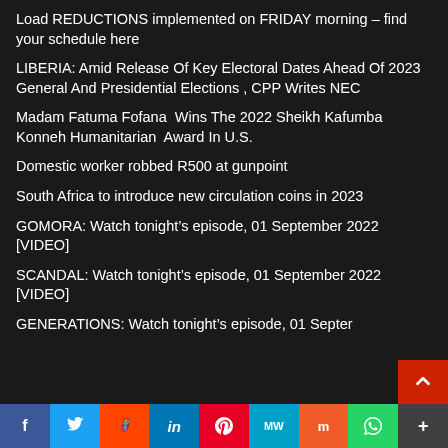Load REDUCTIONS implemented on FRIDAY morning – find your schedule here
LIBERIA: Amid Release Of Key Electoral Dates Ahead Of 2023 General And Presidential Elections , CPP Writes NEC
Madam Fatuma Fofana  Wins The 2022 Sheikh Kafumba Konneh Humanitarian  Award In U.S.
Domestic worker robbed R500 at gunpoint
South Africa to introduce new circulation coins in 2023
GOMORA: Watch tonight’s episode, 01 September 2022 [VIDEO]
SCANDAL: Watch tonight’s episode, 01 September 2022 [VIDEO]
GENERATIONS: Watch tonight’s episode, 01 Septer…
f  Twitter  Reddit  in  Pinterest  MW  Mix  WhatsApp  More